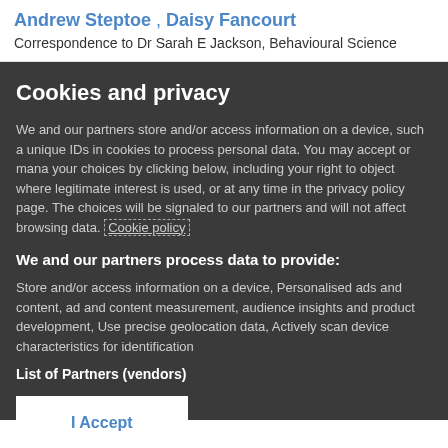Andrew Steptoe , Daisy Fancourt
Correspondence to Dr Sarah E Jackson, Behavioural Science
Cookies and privacy
We and our partners store and/or access information on a device, such a unique IDs in cookies to process personal data. You may accept or mana your choices by clicking below, including your right to object where legitimate interest is used, or at any time in the privacy policy page. The choices will be signaled to our partners and will not affect browsing data. Cookie policy
We and our partners process data to provide:
Store and/or access information on a device, Personalised ads and content, ad and content measurement, audience insights and product development, Use precise geolocation data, Actively scan device characteristics for identification
List of Partners (vendors)
I Accept